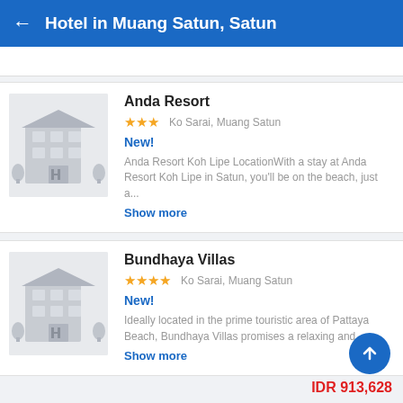Hotel in Muang Satun, Satun
Anda Resort
★★★  Ko Sarai, Muang Satun
New!
Anda Resort Koh Lipe LocationWith a stay at Anda Resort Koh Lipe in Satun, you'll be on the beach, just a...
Show more
Bundhaya Villas
★★★★  Ko Sarai, Muang Satun
New!
Ideally located in the prime touristic area of Pattaya Beach, Bundhaya Villas promises a relaxing and...
Show more
IDR 913,628